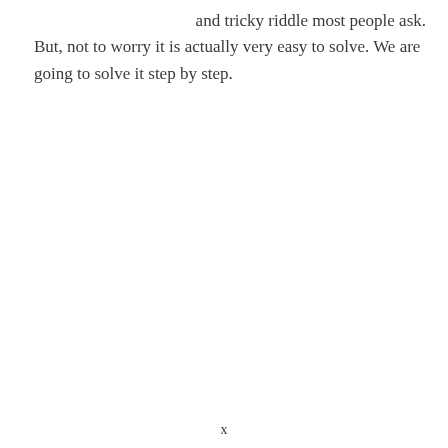and tricky riddle most people ask. But, not to worry it is actually very easy to solve. We are going to solve it step by step.
x